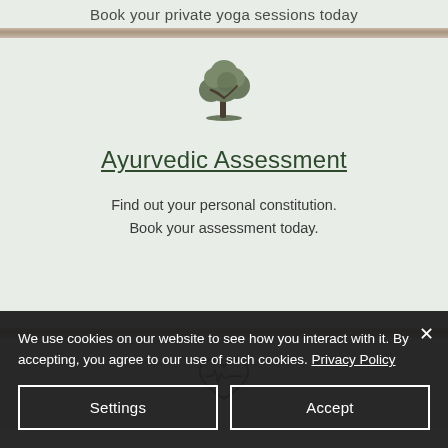Book your private yoga sessions today
[Figure (illustration): Tree illustration icon in dark olive/grey-green color]
Ayurvedic Assessment
Find out your personal constitution. Book your assessment today.
[Figure (illustration): Heart with pulse/ECG line icon in dark green outline]
We use cookies on our website to see how you interact with it. By accepting, you agree to our use of such cookies. Privacy Policy
Settings
Accept